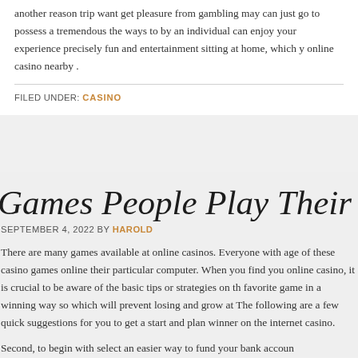another reason trip want get pleasure from gambling may can just go to possess a tremendous the ways to by an individual can enjoy your experience precisely fun and entertainment sitting at home, which y online casino nearby .
FILED UNDER: CASINO
Games People Play Their Own Free
SEPTEMBER 4, 2022 BY HAROLD
There are many games available at online casinos. Everyone with age of these casino games online their particular computer. When you find you online casino, it is crucial to be aware of the basic tips or strategies on th favorite game in a winning way so which will prevent losing and grow at The following are a few quick suggestions for you to get a start and plan winner on the internet casino.
Second, to begin with select an easier way to fund your bank accoun